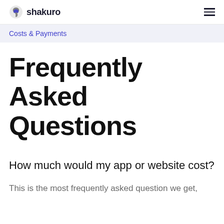shakuro
Costs & Payments
Frequently Asked Questions
How much would my app or website cost?
This is the most frequently asked question we get,